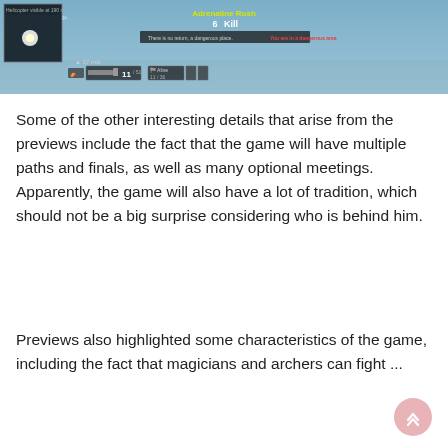[Figure (screenshot): Video game screenshot showing a top-down aerial view with HUD elements: a mini-map in the top left, 'Adrenaline Rush' text in yellow with '6 Kill' notification in the center top, a notification bar with red text, and bottom HUD showing altitude (37m) and weapon stats (11 ammo, player count indicators).]
Some of the other interesting details that arise from the previews include the fact that the game will have multiple paths and finals, as well as many optional meetings. Apparently, the game will also have a lot of tradition, which should not be a big surprise considering who is behind him.
Previews also highlighted some characteristics of the game, including the fact that magicians and archers can fight ...